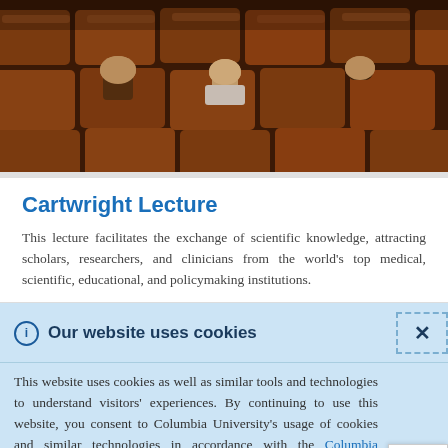[Figure (photo): Lecture hall with students seated in rows of wooden/dark theater chairs viewed from behind, backs of heads visible, warm amber/brown lighting.]
Cartwright Lecture
This lecture facilitates the exchange of scientific knowledge, attracting scholars, researchers, and clinicians from the world's top medical, scientific, educational, and policymaking institutions.
Our website uses cookies
This website uses cookies as well as similar tools and technologies to understand visitors' experiences. By continuing to use this website, you consent to Columbia University's usage of cookies and similar technologies in accordance with the Columbia University Website Cookie Notice.